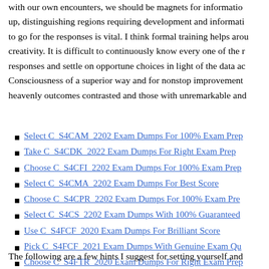with our own encounters, we should be magnets for information up, distinguishing regions requiring development and information to go for the responses is vital. I think formal training helps around creativity. It is difficult to continuously know every one of the responses and settle on opportune choices in light of the data ac Consciousness of a superior way and for nonstop improvement heavenly outcomes contrasted and those with unremarkable and
Select C_S4CAM_2202 Exam Dumps For 100% Exam Prep
Take C_S4CDK_2022 Exam Dumps For Right Exam Prep
Choose C_S4CFI_2202 Exam Dumps For 100% Exam Prep
Select C_S4CMA_2202 Exam Dumps For Best Score
Choose C_S4CPR_2202 Exam Dumps For 100% Exam Pre
Select C_S4CS_2202 Exam Dumps With 100% Guaranteed
Use C_S4FCF_2020 Exam Dumps For Brilliant Score
Pick C_S4FCF_2021 Exam Dumps With Genuine Exam Qu
Choose C_S4FTR_2020 Exam Dumps For Right Exam Prep
The following are a few hints I suggest for setting yourself and